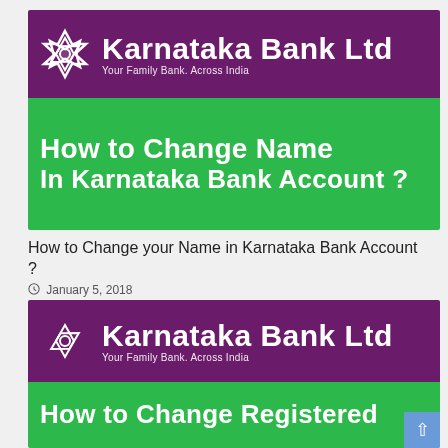[Figure (screenshot): Karnataka Bank Ltd logo banner on purple background with star of David icon, bank name in white text and tagline 'Your Family Bank. Across India', followed by green banner with bold white text 'How to Change Name In Karnataka Bank Account?']
How to Change your Name in Karnataka Bank Account ?
January 5, 2018
[Figure (screenshot): Karnataka Bank Ltd logo banner on purple background with star of David icon, followed by green banner with bold white text 'How to Change Registered Mobile Number in Karnataka Bank']